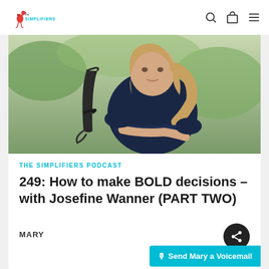[Figure (logo): The Simplifiers logo with flamingo icon in red and teal text]
[Figure (photo): Woman with blonde hair wearing a dark navy top, seated in an ornate metal chair outdoors]
THE SIMPLIFIERS PODCAST
249: How to make BOLD decisions – with Josefine Wanner (PART TWO)
MARY